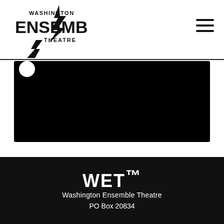[Figure (logo): Washington Ensemble Theatre logo with lightning bolts and stylized text]
[Figure (other): Hamburger menu icon (three horizontal bars)]
[Figure (photo): Large black rectangle representing a video player area with a white circle at top-left]
WET™
Washington Ensemble Theatre
PO Box 20834